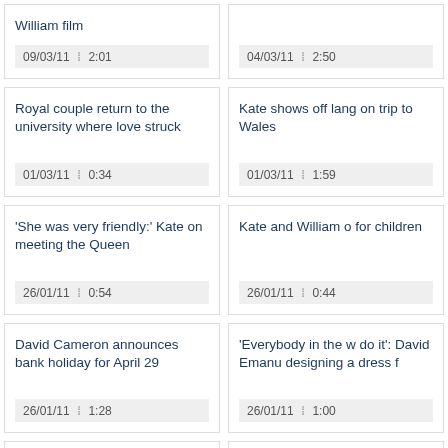William film
09/03/11 2:01
04/03/11 2:50
Royal couple return to the university where love struck
01/03/11 0:34
Kate shows off lang on trip to Wales
01/03/11 1:59
'She was very friendly:' Kate on meeting the Queen
26/01/11 0:54
Kate and William o for children
26/01/11 0:44
David Cameron announces bank holiday for April 29
26/01/11 1:28
'Everybody in the w do it': David Emanu designing a dress f
26/01/11 1:00
'They've been practising long enough,' Prince Charles chips in
18/01/11 0:18
Prince William and Middleton announc engagement
18/01/11 2:22